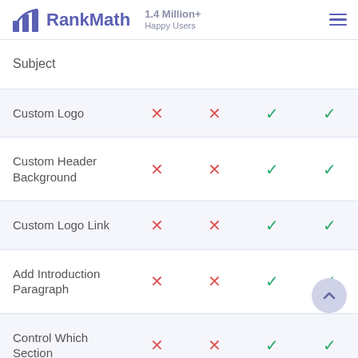RankMath — 1.4 Million+ Happy Users
| Subject |  |  |  |  |
| --- | --- | --- | --- | --- |
| Custom Logo | ✗ | ✗ | ✓ | ✓ |
| Custom Header Background | ✗ | ✗ | ✓ | ✓ |
| Custom Logo Link | ✗ | ✗ | ✓ | ✓ |
| Add Introduction Paragraph | ✗ | ✗ | ✓ | ✓ |
| Control Which Section | ✗ | ✗ | ✓ | ✓ |